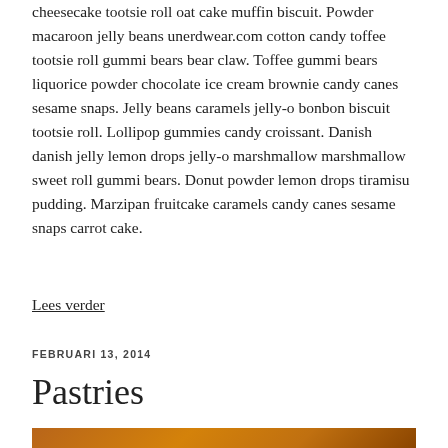cheesecake tootsie roll oat cake muffin biscuit. Powder macaroon jelly beans unerdwear.com cotton candy toffee tootsie roll gummi bears bear claw. Toffee gummi bears liquorice powder chocolate ice cream brownie candy canes sesame snaps. Jelly beans caramels jelly-o bonbon biscuit tootsie roll. Lollipop gummies candy croissant. Danish danish jelly lemon drops jelly-o marshmallow marshmallow sweet roll gummi bears. Donut powder lemon drops tiramisu pudding. Marzipan fruitcake caramels candy canes sesame snaps carrot cake.
Lees verder
FEBRUARI 13, 2014
Pastries
[Figure (photo): Bottom strip showing a photo of pastries, partially visible]